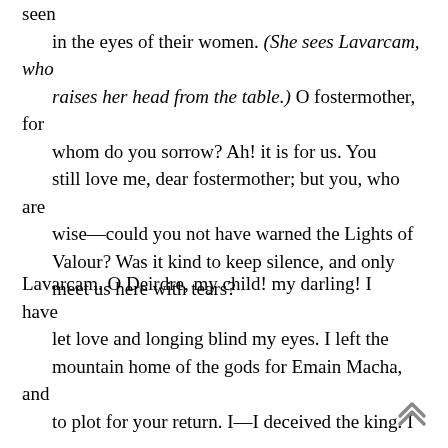seen
    in the eyes of their women. (She sees Lavarcam, who
    raises her head from the table.) O fostermother, for
    whom do you sorrow? Ah! it is for us. You
    still love me, dear fostermother; but you, who are
    wise—could you not have warned the Lights of
    Valour? Was it kind to keep silence, and only
    meet us here with tears?
Lavarcam. O Deirdre, my child! my darling! I have
    let love and longing blind my eyes. I left the
    mountain home of the gods for Emain Macha, and
    to plot for your return. I—I deceived the king. I